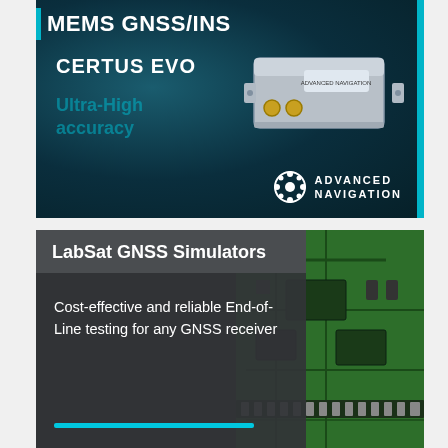[Figure (photo): Advertisement banner for Advanced Navigation CERTUS EVO MEMS GNSS/INS device. Dark teal background with text 'MEMS GNSS/INS', 'CERTUS EVO', 'Ultra-High accuracy' and a photo of a grey rectangular navigation sensor device. Advanced Navigation logo (soccer-ball-like icon) and company name at bottom right.]
[Figure (photo): Advertisement banner for LabSat GNSS Simulators. Left dark panel reads 'LabSat GNSS Simulators' as header and 'Cost-effective and reliable End-of-Line testing for any GNSS receiver' as body text with cyan underline. Right side shows a close-up photo of a green PCB circuit board.]